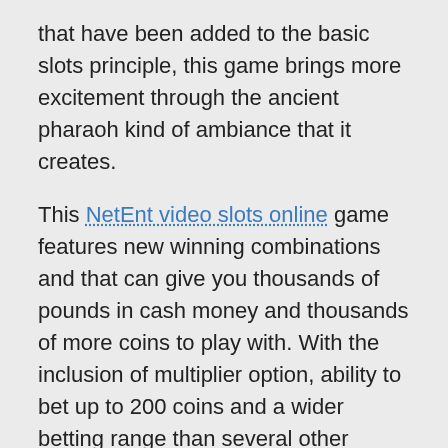that have been added to the basic slots principle, this game brings more excitement through the ancient pharaoh kind of ambiance that it creates.
This NetEnt video slots online game features new winning combinations and that can give you thousands of pounds in cash money and thousands of more coins to play with. With the inclusion of multiplier option, ability to bet up to 200 coins and a wider betting range than several other casino games, Egyptian Heroes is a delight visually as well as monetarily. The odds of winning are good in the game.
Special symbols in Egyptian Heroes are provided in the form of Egyptian Gods and Heroes. These can get you lots of prizes. In short, although the game has the basic slot rules and way of gaming, it is these